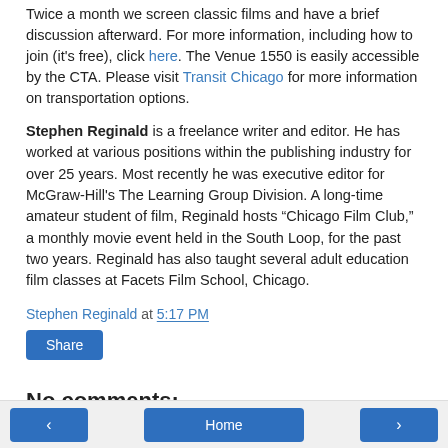Twice a month we screen classic films and have a brief discussion afterward. For more information, including how to join (it's free), click here. The Venue 1550 is easily accessible by the CTA. Please visit Transit Chicago for more information on transportation options.
Stephen Reginald is a freelance writer and editor. He has worked at various positions within the publishing industry for over 25 years. Most recently he was executive editor for McGraw-Hill's The Learning Group Division. A long-time amateur student of film, Reginald hosts "Chicago Film Club," a monthly movie event held in the South Loop, for the past two years. Reginald has also taught several adult education film classes at Facets Film School, Chicago.
Stephen Reginald at 5:17 PM
Share
No comments:
Post a Comment
‹  Home  ›